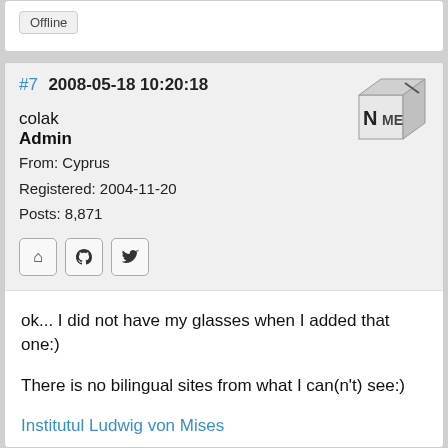Offline
#7  2008-05-18 10:20:18
[Figure (logo): 3D cube logo with N/ME letters]
colak
Admin
From: Cyprus
Registered: 2004-11-20
Posts: 8,871
[Figure (infographic): Three icon buttons: home, github, twitter]
ok... I did not have my glasses when I added that one:)
There is no bilingual sites from what I can(n't) see:)
Institutul Ludwig von Mises